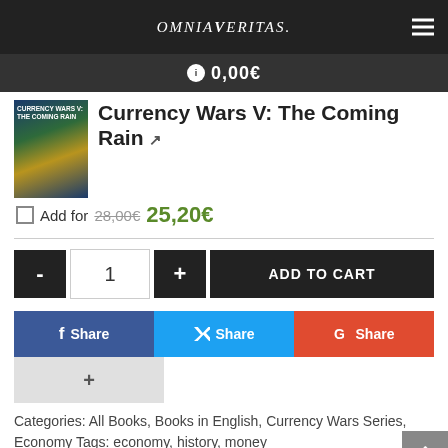Omnia Veritas
0,00€
Currency Wars V: The Coming Rain
Add for 28,00€ 25,20€
- 1 + ADD TO CART
f Share  Share (Twitter)  G Share
+
Categories: All Books, Books in English, Currency Wars Series, Economy Tags: economy, history, money